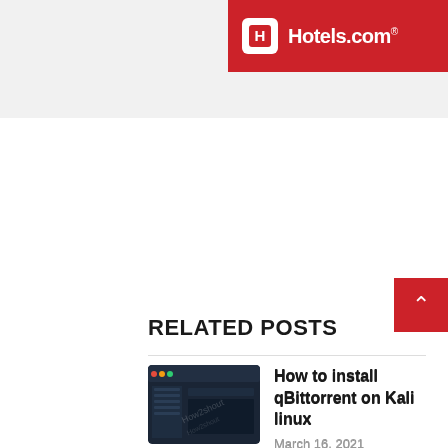[Figure (logo): Hotels.com red banner ad with white H logo box and white text 'Hotels.com' with registered trademark symbol]
RELATED POSTS
[Figure (screenshot): Dark themed qBittorrent application screenshot with watermark text 'How2shout']
How to install qBittorrent on Kali linux
March 16, 2021
[Figure (screenshot): XAMPP server installation screenshot on dark blue background]
How to install and start XAMPP server ...
June 18, 2020
[Figure (screenshot): Partial screenshot for another 'How to install' post, cut off at bottom]
How to install